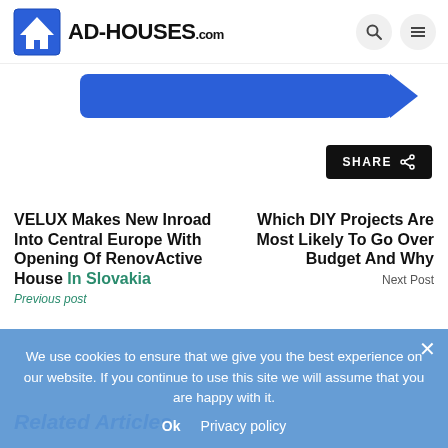AD-HOUSES.com
[Figure (other): Blue banner strip with rounded rectangle and arrow]
SHARE
VELUX Makes New Inroad Into Central Europe With Opening Of RenovActive House In Slovakia
Which DIY Projects Are Most Likely To Go Over Budget And Why
Next Post
Related Articles
We use cookies to ensure that we give you the best experience on our website. If you continue to use this site we will assume that you are happy with it.
Ok   Privacy policy